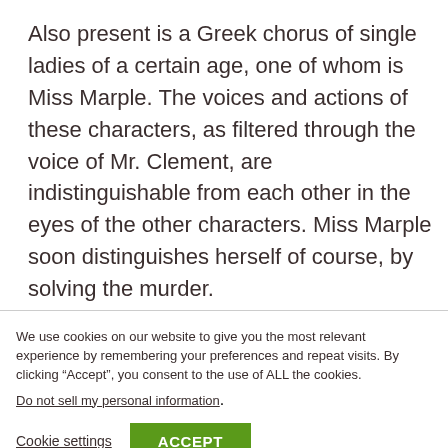Also present is a Greek chorus of single ladies of a certain age, one of whom is Miss Marple. The voices and actions of these characters, as filtered through the voice of Mr. Clement, are indistinguishable from each other in the eyes of the other characters. Miss Marple soon distinguishes herself of course, by solving the murder.
We use cookies on our website to give you the most relevant experience by remembering your preferences and repeat visits. By clicking “Accept”, you consent to the use of ALL the cookies.
Do not sell my personal information.
Cookie settings   ACCEPT